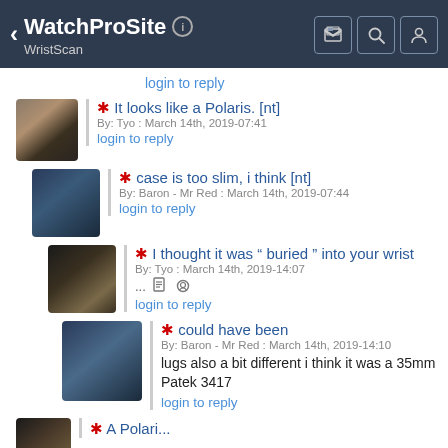WatchProSite — WristScan
login to reply
* It looks like a Polaris. [nt]
By: Tyo : March 14th, 2019-07:41
login to reply
* case is too slim, i think [nt]
By: Baron - Mr Red : March 14th, 2019-07:44
login to reply
* I thought it was " buried " into your wrist
By: Tyo : March 14th, 2019-14:07
...
login to reply
* could have been
By: Baron - Mr Red : March 14th, 2019-14:10
lugs also a bit different i think it was a 35mm Patek 3417
login to reply